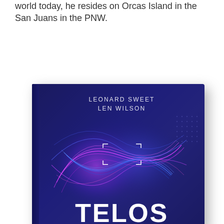world today, he resides on Orcas Island in the San Juans in the PNW.
[Figure (illustration): Book cover of 'Telos' by Leonard Sweet and Len Wilson. Dark navy blue background with abstract glowing torus/knot shape in purple and pink flowing lines. Authors' names in spaced white letters at top. Large bold white 'TELOS' text at bottom with a bracket frame motif.]